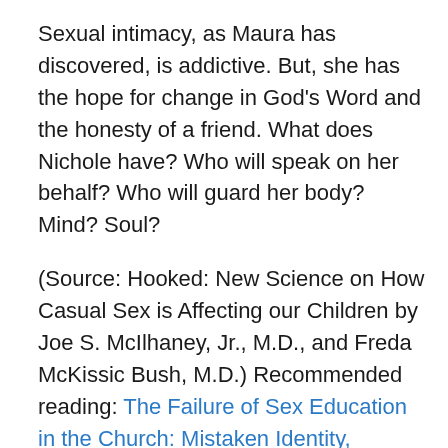Sexual intimacy, as Maura has discovered, is addictive. But, she has the hope for change in God's Word and the honesty of a friend. What does Nichole have? Who will speak on her behalf? Who will guard her body? Mind? Soul?
(Source: Hooked: New Science on How Casual Sex is Affecting our Children by Joe S. McIlhaney, Jr., M.D., and Freda McKissic Bush, M.D.) Recommended reading: The Failure of Sex Education in the Church: Mistaken Identity, Compromised Purity by Linda Bartlett)
Note: This blog was first posted on May 18, 2011. Since that time, Maura separated herself from an unbelieving and verbally abusive man to begin a new life. Today, Maura cares for others as a nurse and has stepped in to rescue her youngest sister from a mom addicted to meth.